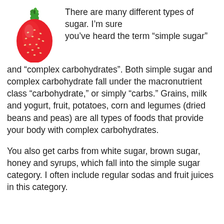[Figure (photo): A red strawberry with green leaves on top, photographed on a white background.]
There are many different types of sugar. I’m sure you’ve heard the term “simple sugar” and “complex carbohydrates”.  Both simple sugar and complex carbohydrate fall under the macronutrient class “carbohydrate,” or simply “carbs.”  Grains, milk and yogurt, fruit, potatoes, corn and legumes (dried beans and peas) are all types of foods that provide your body with complex carbohydrates.
You also get carbs from white sugar, brown sugar, honey and syrups, which fall into the simple sugar category.  I often include regular sodas and fruit juices in this category.